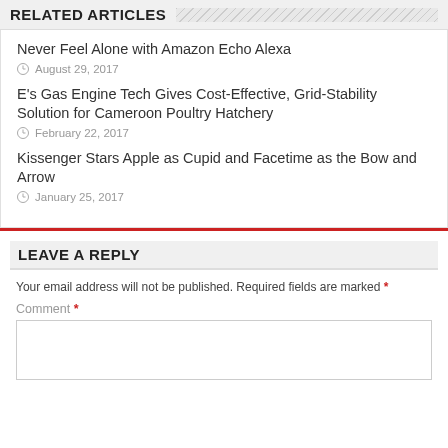RELATED ARTICLES
Never Feel Alone with Amazon Echo Alexa
August 29, 2017
E's Gas Engine Tech Gives Cost-Effective, Grid-Stability Solution for Cameroon Poultry Hatchery
February 22, 2017
Kissenger Stars Apple as Cupid and Facetime as the Bow and Arrow
January 25, 2017
LEAVE A REPLY
Your email address will not be published. Required fields are marked *
Comment *